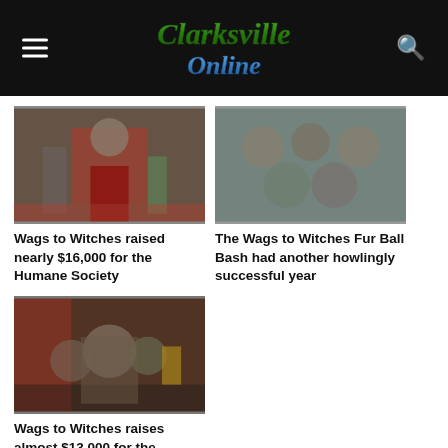Clarksville Online
[Figure (photo): People in Halloween costumes at an indoor event, one wearing a red cape]
[Figure (photo): Group of people in Halloween costumes posing for a photo indoors]
Wags to Witches raised nearly $16,000 for the Humane Society
The Wags to Witches Fur Ball Bash had another howlingly successful year
[Figure (photo): People dancing at an indoor event with Halloween decorations in the background]
Wags to Witches raises almost $13,000 for the Clarksville-Montgomery